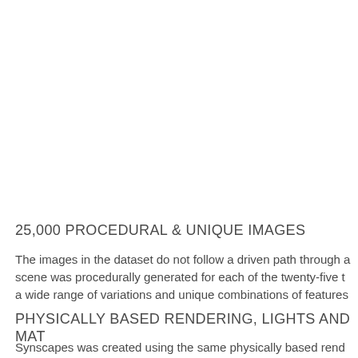25,000 PROCEDURAL & UNIQUE IMAGES
The images in the dataset do not follow a driven path through a scene was procedurally generated for each of the twenty-five t a wide range of variations and unique combinations of features
PHYSICALLY BASED RENDERING, LIGHTS AND MAT
Synscapes was created using the same physically based rend